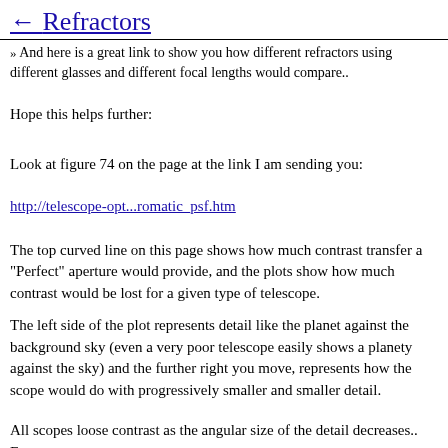← Refractors
» And here is a great link to show you how different refractors using different glasses and different focal lengths would compare..
Hope this helps further:
Look at figure 74 on the page at the link I am sending you:
http://telescope-opt...romatic_psf.htm
The top curved line on this page shows how much contrast transfer a "Perfect" aperture would provide, and the plots show how much contrast would be lost for a given type of telescope.
The left side of the plot represents detail like the planet against the background sky (even a very poor telescope easily shows a planety against the sky) and the further right you move, represents how the scope would do with progressively smaller and smaller detail.
All scopes loose contrast as the angular size of the detail decreases.. Even